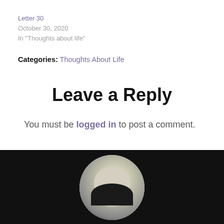Letter 30
October 30, 2020
In "Thoughts about life"
Categories: Thoughts About Life
Leave a Reply
You must be logged in to post a comment.
[Figure (photo): Circular avatar photo of a person with dark hair against a white background, displayed in a black footer section]